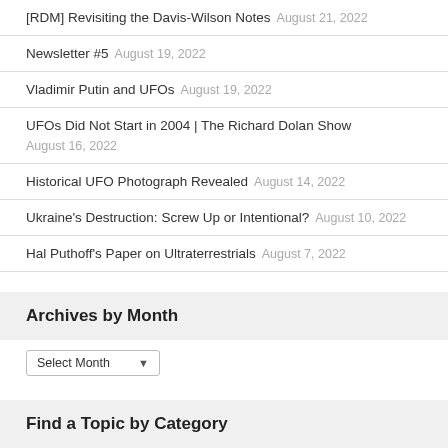[RDM] Revisiting the Davis-Wilson Notes   August 21, 2022
Newsletter #5   August 19, 2022
Vladimir Putin and UFOs   August 19, 2022
UFOs Did Not Start in 2004 | The Richard Dolan Show   August 16, 2022
Historical UFO Photograph Revealed   August 14, 2022
Ukraine's Destruction: Screw Up or Intentional?   August 10, 2022
Hal Puthoff's Paper on Ultraterrestrials   August 7, 2022
Archives by Month
Select Month
Find a Topic by Category
Select Category